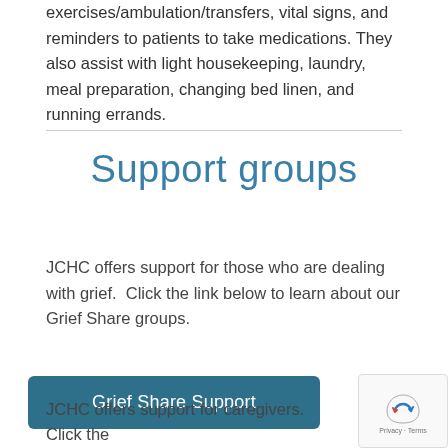exercises/ambulation/transfers, vital signs, and reminders to patients to take medications. They also assist with light housekeeping, laundry, meal preparation, changing bed linen, and running errands.
Support groups
JCHC offers support for those who are dealing with grief.  Click the link below to learn about our Grief Share groups.
Grief Share Support
JCHC offers support for caregivers.  Click the